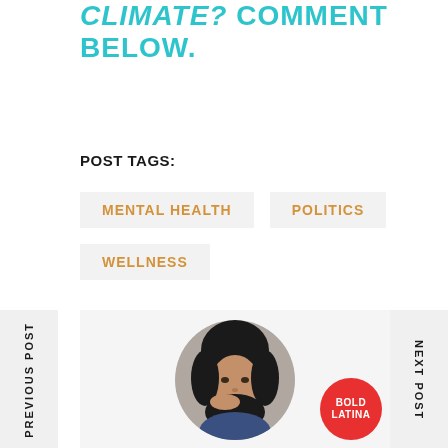CLIMATE? COMMENT BELOW.
POST TAGS:
MENTAL HEALTH
POLITICS
WELLNESS
PREVIOUS POST
NEXT POST
[Figure (photo): Portrait photo of a young woman with dark curly hair, hand near her face, circular crop. Bold Latina badge in bottom right.]